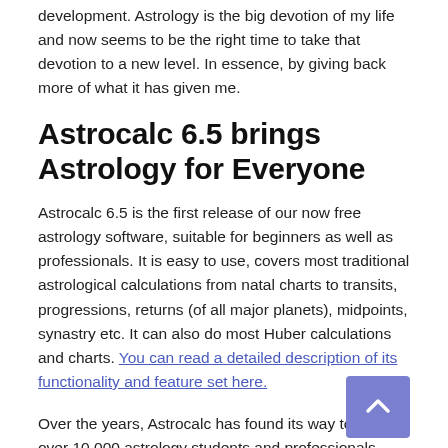development. Astrology is the big devotion of my life and now seems to be the right time to take that devotion to a new level. In essence, by giving back more of what it has given me.
Astrocalc 6.5 brings Astrology for Everyone
Astrocalc 6.5 is the first release of our now free astrology software, suitable for beginners as well as professionals. It is easy to use, covers most traditional astrological calculations from natal charts to transits, progressions, returns (of all major planets), midpoints, synastry etc. It can also do most Huber calculations and charts. You can read a detailed description of its functionality and feature set here.
Over the years, Astrocalc has found its way to well over 10 000 astrology students and professionals since its first release as commercial software in 1982.  Starting